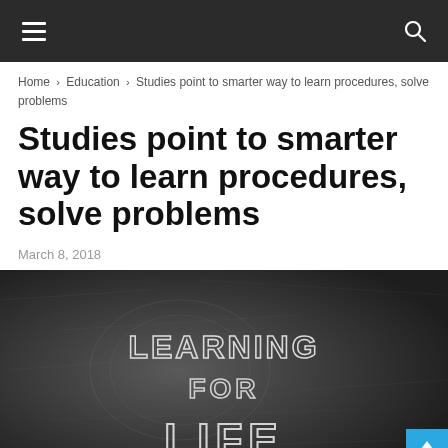≡  🔍
Home › Education › Studies point to smarter way to learn procedures, solve problems
Studies point to smarter way to learn procedures, solve problems
March 8, 2018
[Figure (photo): Chalkboard with chalk lettering reading LEARNING FOR LIFE in decorative block letters]